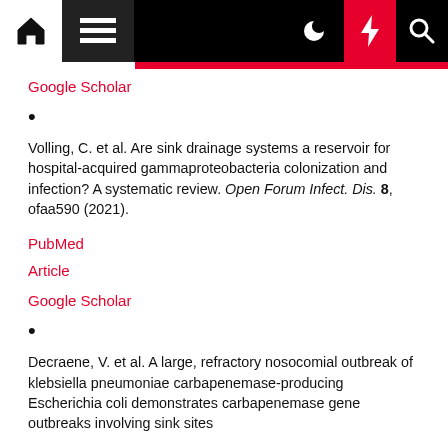Navigation bar with home, menu, moon, lightning, search icons
Google Scholar
bullet
Volling, C. et al. Are sink drainage systems a reservoir for hospital-acquired gammaproteobacteria colonization and infection? A systematic review. Open Forum Infect. Dis. 8, ofaa590 (2021).
PubMed
Article
Google Scholar
bullet
Decraene, V. et al. A large, refractory nosocomial outbreak of klebsiella pneumoniae carbapenemase-producing Escherichia coli demonstrates carbapenemase gene outbreaks involving sink sites